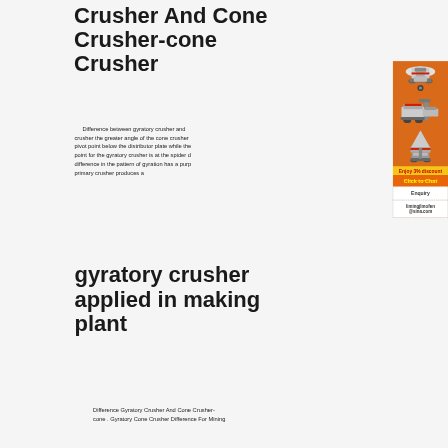Crusher And Cone Crusher-cone Crusher
Difference between gyratory crusher and crusher the greater angle of the cone crusher pivot point below the distributor plate while the point for the gyratory crusher is at the spider o difference in the pattern of gyration has a purp primary crusher produces a
[Figure (illustration): Advertisement sidebar with orange background showing industrial crusher machine images, a yellow discount bar reading 'Enjoy 3% discount', an orange 'Click to Chat' bar, an Enquiry section, and email limingjlmofen@sina.com]
gyratory crusher applied in making plant
Difference Gyratory Crusher And Cone Crusher-cone . Gyratory Cone Crusher Difference For Mining